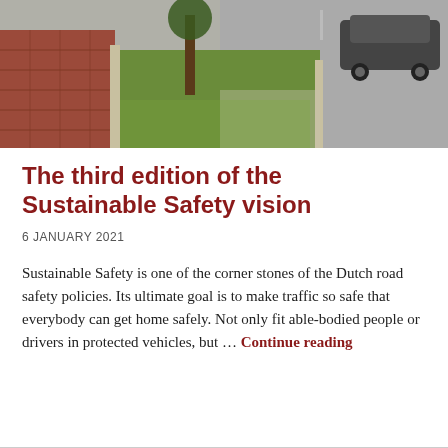[Figure (photo): Street-level photograph showing a red brick cycle path in the foreground, a grass verge with a tree, and a road with a parked car in the background.]
The third edition of the Sustainable Safety vision
6 JANUARY 2021
Sustainable Safety is one of the corner stones of the Dutch road safety policies. Its ultimate goal is to make traffic so safe that everybody can get home safely. Not only fit able-bodied people or drivers in protected vehicles, but … Continue reading